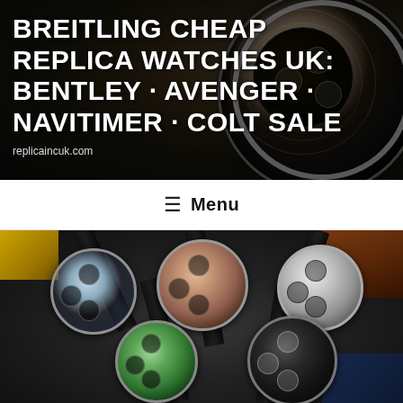[Figure (photo): Hero banner with dark background showing a close-up of a Breitling watch face with chronograph dials, overlaid with white bold text title and website URL]
BREITLING CHEAP REPLICA WATCHES UK: BENTLEY · AVENGER · NAVITIMER · COLT SALE
replicaincuk.com
≡ Menu
[Figure (photo): Collection of five Breitling Navitimer replica watches with black leather crocodile straps arranged on a dark surface, showing five different dial colors: blue-white, salmon/copper, white, green, and black]